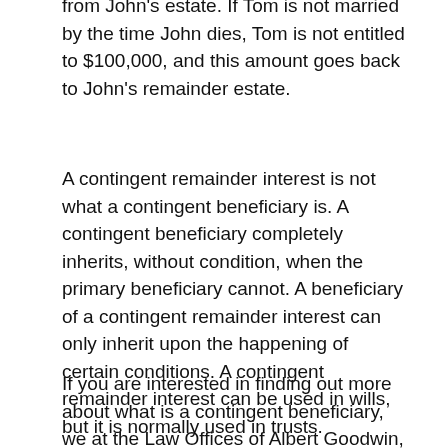from John's estate. If Tom is not married by the time John dies, Tom is not entitled to $100,000, and this amount goes back to John's remainder estate.
A contingent remainder interest is not what a contingent beneficiary is. A contingent beneficiary completely inherits, without condition, when the primary beneficiary cannot. A beneficiary of a contingent remainder interest can only inherit upon the happening of certain conditions. A contingent remainder interest can be used in wills, but it is normally used in trusts.
If you are interested in finding out more about what is a contingent beneficiary, we at the Law Offices of Albert Goodwin, are here for you. We have offices in New York, NY, Brooklyn, NY and Queens, NY. You